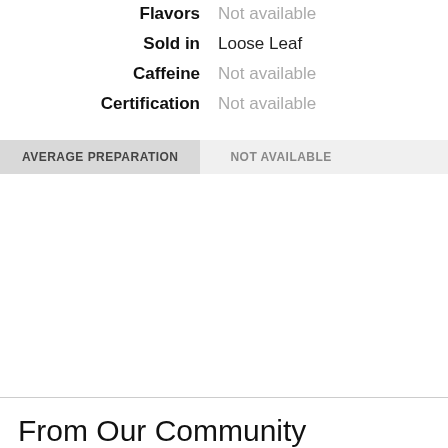| Label | Value |
| --- | --- |
| Flavors | Not available |
| Sold in | Loose Leaf |
| Caffeine | Not available |
| Certification | Not available |
AVERAGE PREPARATION	NOT AVAILABLE
From Our Community